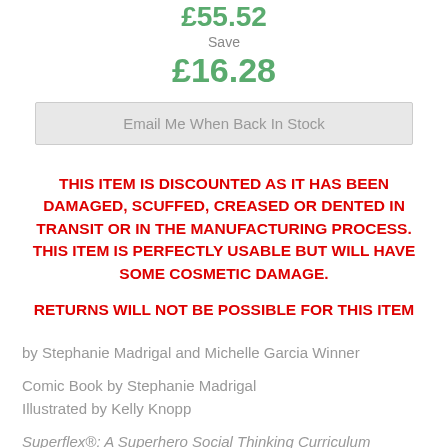£55.52
Save
£16.28
Email Me When Back In Stock
THIS ITEM IS DISCOUNTED AS IT HAS BEEN DAMAGED, SCUFFED, CREASED OR DENTED IN TRANSIT OR IN THE MANUFACTURING PROCESS. THIS ITEM IS PERFECTLY USABLE BUT WILL HAVE SOME COSMETIC DAMAGE.
RETURNS WILL NOT BE POSSIBLE FOR THIS ITEM
by Stephanie Madrigal and Michelle Garcia Winner
Comic Book by Stephanie Madrigal
Illustrated by Kelly Knopp
Superflex®: A Superhero Social Thinking Curriculum